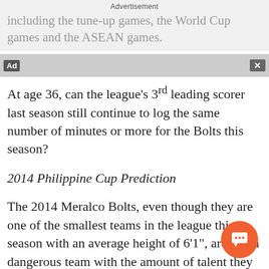including the tune-up games, the World Cup games and the ASEAN games.
Advertisement
Ad
At age 36, can the league's 3rd leading scorer last season still continue to log the same number of minutes or more for the Bolts this season?
2014 Philippine Cup Prediction
The 2014 Meralco Bolts, even though they are one of the smallest teams in the league this season with an average height of 6’1”, are still a dangerous team with the amount of talent they have. The team’s starting five can go toe-to-toe with the league’s best while Rey Guevarra, John Wilson, and Simon Atkins will provide firepower off-the-bench. However, the team still has a huge hole at center spot unless Rabeh Al-Husaini, in someway return from Kuwait and help beef up the Bolts. The huge hole at the bench center spot still shines through...